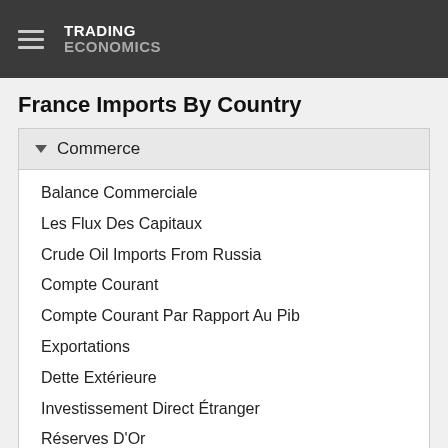TRADING ECONOMICS
France Imports By Country
Commerce
Balance Commerciale
Les Flux Des Capitaux
Crude Oil Imports From Russia
Compte Courant
Compte Courant Par Rapport Au Pib
Exportations
Dette Extérieure
Investissement Direct Étranger
Réserves D'Or
Importations
Importations De Gaz Naturel
Remises
Termes De L'échange
Indice De Terrorisme
Les Revenus Du Tourisme